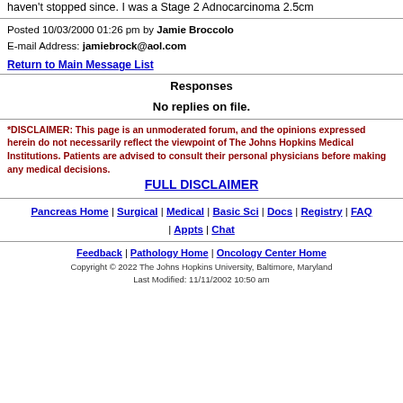haven't stopped since. I was a Stage 2 Adnocarcinoma 2.5cm
Posted 10/03/2000 01:26 pm by Jamie Broccolo
E-mail Address: jamiebrock@aol.com
Return to Main Message List
Responses
No replies on file.
*DISCLAIMER: This page is an unmoderated forum, and the opinions expressed herein do not necessarily reflect the viewpoint of The Johns Hopkins Medical Institutions. Patients are advised to consult their personal physicians before making any medical decisions. FULL DISCLAIMER
Pancreas Home | Surgical | Medical | Basic Sci | Docs | Registry | FAQ | Appts | Chat
Feedback | Pathology Home | Oncology Center Home
Copyright © 2022 The Johns Hopkins University, Baltimore, Maryland
Last Modified: 11/11/2002 10:50 am